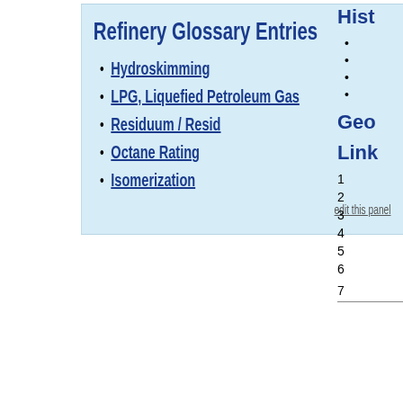Refinery Glossary Entries
Hydroskimming
LPG, Liquefied Petroleum Gas
Residuum / Resid
Octane Rating
Isomerization
edit this panel
Hist
Geo
Link
1
2
3
4
5
6
7